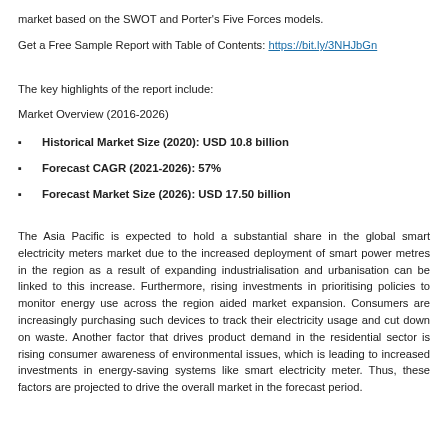market based on the SWOT and Porter's Five Forces models.
Get a Free Sample Report with Table of Contents: https://bit.ly/3NHJbGn
The key highlights of the report include:
Market Overview (2016-2026)
Historical Market Size (2020): USD 10.8 billion
Forecast CAGR (2021-2026): 57%
Forecast Market Size (2026): USD 17.50 billion
The Asia Pacific is expected to hold a substantial share in the global smart electricity meters market due to the increased deployment of smart power metres in the region as a result of expanding industrialisation and urbanisation can be linked to this increase. Furthermore, rising investments in prioritising policies to monitor energy use across the region aided market expansion. Consumers are increasingly purchasing such devices to track their electricity usage and cut down on waste. Another factor that drives product demand in the residential sector is rising consumer awareness of environmental issues, which is leading to increased investments in energy-saving systems like smart electricity meter. Thus, these factors are projected to drive the overall market in the forecast period.